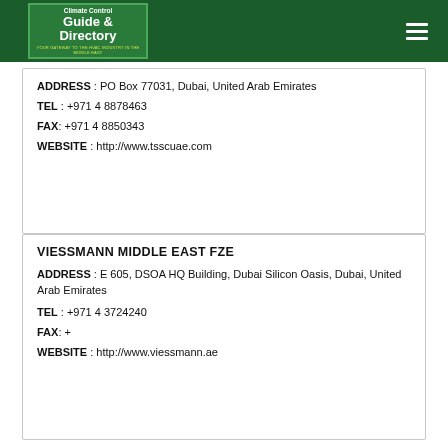Climate Control Guide & Directory
ADDRESS : PO Box 77031, Dubai, United Arab Emirates
TEL : +971 4 8878463
FAX: +971 4 8850343
WEBSITE : http://www.tsscuae.com
VIESSMANN MIDDLE EAST FZE
ADDRESS : E 605, DSOA HQ Building, Dubai Silicon Oasis, Dubai, United Arab Emirates
TEL : +971 4 3724240
FAX: +
WEBSITE : http://www.viessmann.ae